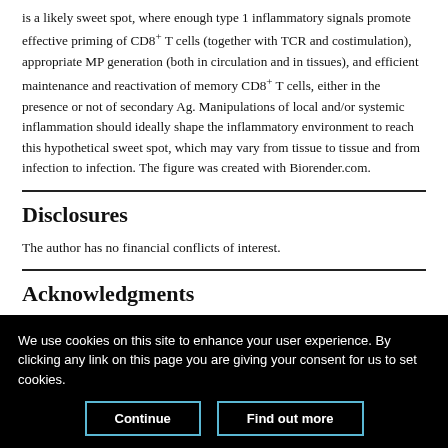is a likely sweet spot, where enough type 1 inflammatory signals promote effective priming of CD8+ T cells (together with TCR and costimulation), appropriate MP generation (both in circulation and in tissues), and efficient maintenance and reactivation of memory CD8+ T cells, either in the presence or not of secondary Ag. Manipulations of local and/or systemic inflammation should ideally shape the inflammatory environment to reach this hypothetical sweet spot, which may vary from tissue to tissue and from infection to infection. The figure was created with Biorender.com.
Disclosures
The author has no financial conflicts of interest.
Acknowledgments
We use cookies on this site to enhance your user experience. By clicking any link on this page you are giving your consent for us to set cookies.